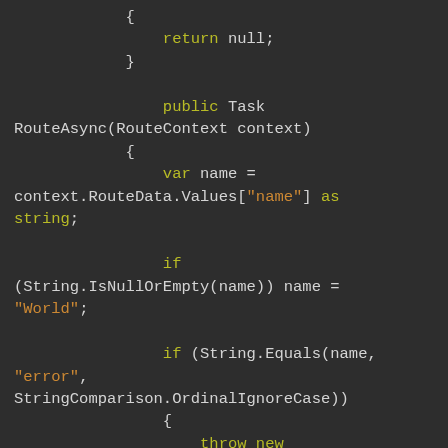{ return null; } public Task RouteAsync(RouteContext context) { var name = context.RouteData.Values["name"] as string; if (String.IsNullOrEmpty(name)) name = "World"; if (String.Equals(name, "error", StringComparison.OrdinalIgnoreCase)) { throw new ArgumentException("Hate errors! Won't say Hi!"); } var requestPath =